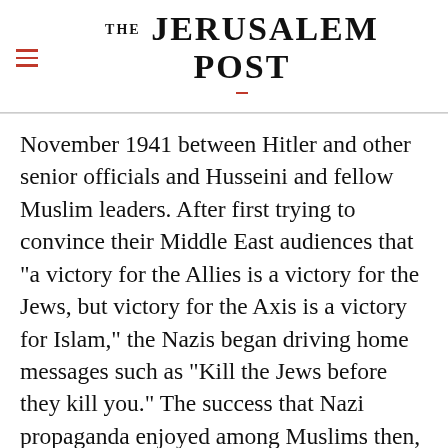THE JERUSALEM POST
November 1941 between Hitler and other senior officials and Husseini and fellow Muslim leaders. After first trying to convince their Middle East audiences that "a victory for the Allies is a victory for the Jews, but victory for the Axis is a victory for Islam," the Nazis began driving home messages such as "Kill the Jews before they kill you." The success that Nazi propaganda enjoyed among Muslims then, and continues to enjoy
Advertisement